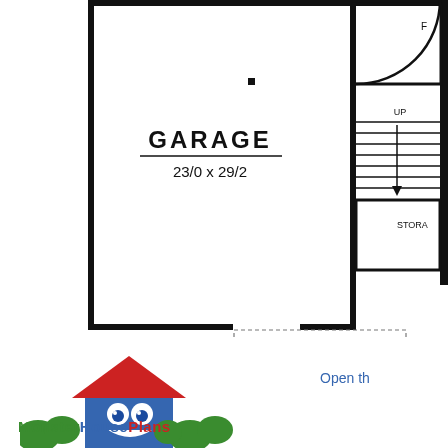[Figure (engineering-diagram): Floor plan showing a garage (23/0 x 29/2) with thick black walls, a small room labeled F in upper right, a staircase labeled UP, a storage area labeled STORA, and a dashed rectangle at the bottom indicating a garage door or driveway apron.]
[Figure (logo): MonsterHousePlans logo with a blue monster house character, red roof, green bushes/trees, and the text MonsterHousePlans in green and red.]
Open th